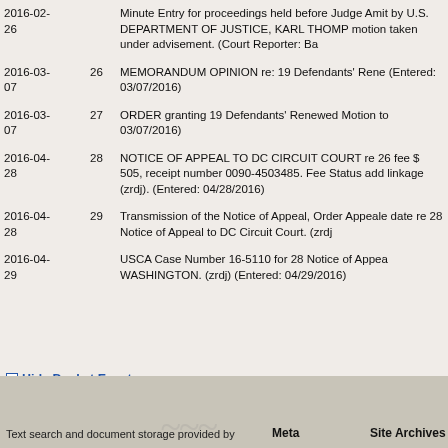| Date | # | Description |
| --- | --- | --- |
| 2016-02-26 |  | Minute Entry for proceedings held before Judge Amit by U.S. DEPARTMENT OF JUSTICE, KARL THOMP motion taken under advisement. (Court Reporter: Ba |
| 2016-03-07 | 26 | MEMORANDUM OPINION re: 19 Defendants' Rene (Entered: 03/07/2016) |
| 2016-03-07 | 27 | ORDER granting 19 Defendants' Renewed Motion to 03/07/2016) |
| 2016-04-28 | 28 | NOTICE OF APPEAL TO DC CIRCUIT COURT re 26 fee $ 505, receipt number 0090-4503485. Fee Status add linkage (zrdj). (Entered: 04/28/2016) |
| 2016-04-28 | 29 | Transmission of the Notice of Appeal, Order Appeale date re 28 Notice of Appeal to DC Circuit Court. (zrdj |
| 2016-04-29 |  | USCA Case Number 16-5110 for 28 Notice of Appea WASHINGTON. (zrdj) (Entered: 04/29/2016) |
Hide Docket Events
Text search and document storage provided by    Meta    Site Archives